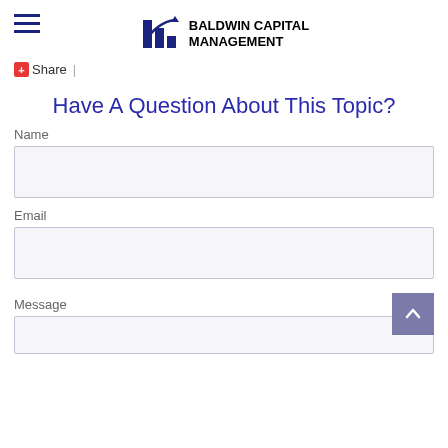Baldwin Capital Management
Share |
Have A Question About This Topic?
Name
Email
Message